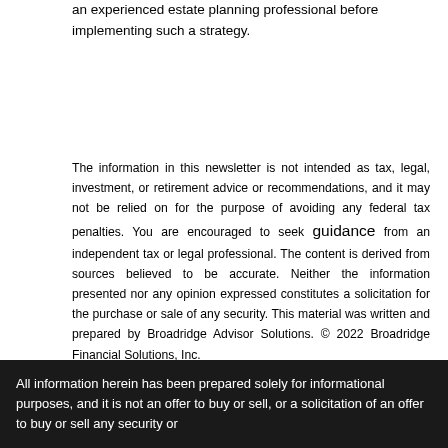an experienced estate planning professional before implementing such a strategy.
The information in this newsletter is not intended as tax, legal, investment, or retirement advice or recommendations, and it may not be relied on for the purpose of avoiding any federal tax penalties. You are encouraged to seek guidance from an independent tax or legal professional. The content is derived from sources believed to be accurate. Neither the information presented nor any opinion expressed constitutes a solicitation for the purchase or sale of any security. This material was written and prepared by Broadridge Advisor Solutions. © 2022 Broadridge Financial Solutions, Inc.
All information herein has been prepared solely for informational purposes, and it is not an offer to buy or sell, or a solicitation of an offer to buy or sell any security or